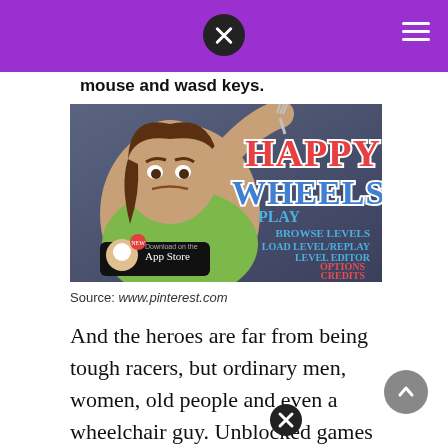mouse and wasd keys.
[Figure (screenshot): Happy Wheels game splash screen showing a large cartoon woman in a green tank top holding a fork, with the HAPPY WHEELS logo, and menu options: PLAY, BROWSE LEVELS, LOAD LEVEL/REPLAY, LEVEL EDITOR, OPTIONS, CREDITS. An App Store download badge is visible in the bottom left.]
Source: www.pinterest.com
And the heroes are far from being tough racers, but ordinary men, women, old people and even a wheelchair guy. Unblocked games happy wheels :